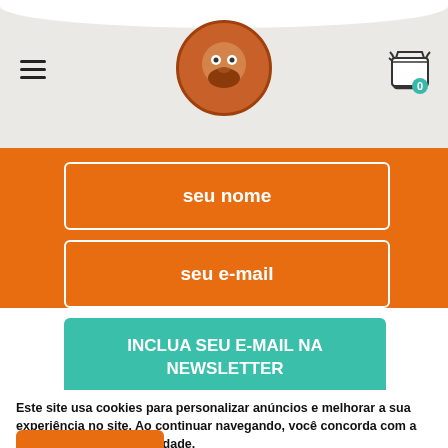[Figure (logo): Round logo with an illustrated character, orange background, circular border]
seu nome
seu e-mail
INCLUA SEU E-MAIL NA NEWSLETTER
Este site usa cookies para personalizar anúncios e melhorar a sua experiência no site. Ao continuar navegando, você concorda com a nossa Política de Privacidade.
CONTINUAR